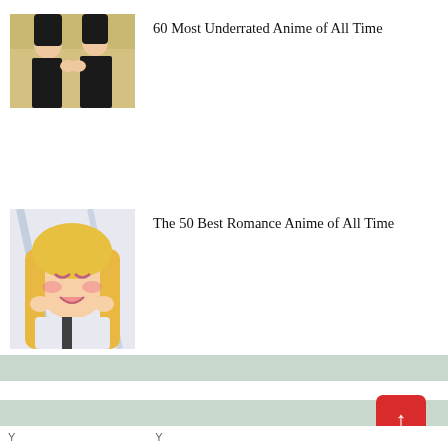[Figure (illustration): Anime thumbnail showing two characters, a dark-haired boy and girl in school uniforms appearing to interact]
60 Most Underrated Anime of All Time
[Figure (illustration): Anime thumbnail showing a smiling blonde girl with long hair in a school uniform]
The 50 Best Romance Anime of All Time